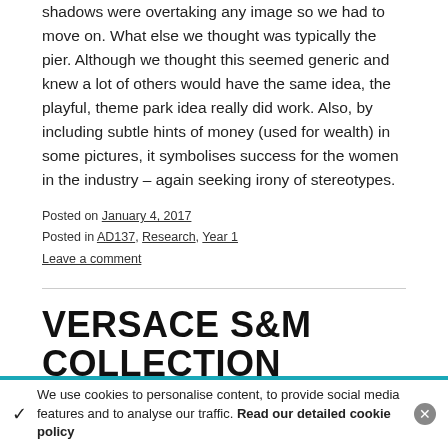shadows were overtaking any image so we had to move on. What else we thought was typically the pier. Although we thought this seemed generic and knew a lot of others would have the same idea, the playful, theme park idea really did work. Also, by including subtle hints of money (used for wealth) in some pictures, it symbolises success for the women in the industry – again seeking irony of stereotypes.
Posted on January 4, 2017
Posted in AD137, Research, Year 1
Leave a comment
VERSACE S&M COLLECTION
✓ We use cookies to personalise content, to provide social media features and to analyse our traffic. Read our detailed cookie policy